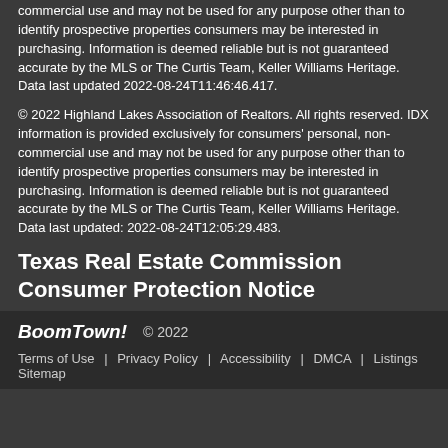commercial use and may not be used for any purpose other than to identify prospective properties consumers may be interested in purchasing. Information is deemed reliable but is not guaranteed accurate by the MLS or The Curtis Team, Keller Williams Heritage. Data last updated 2022-08-24T11:46:46.417.
© 2022 Highland Lakes Association of Realtors. All rights reserved. IDX information is provided exclusively for consumers' personal, non-commercial use and may not be used for any purpose other than to identify prospective properties consumers may be interested in purchasing. Information is deemed reliable but is not guaranteed accurate by the MLS or The Curtis Team, Keller Williams Heritage. Data last updated: 2022-08-24T12:05:29.483.
Texas Real Estate Commission Consumer Protection Notice
BoomTown! © 2022 | Terms of Use | Privacy Policy | Accessibility | DMCA | Listings Sitemap